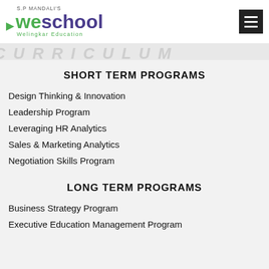S.P MANDALI'S WeSchool Welingkar Education
SHORT TERM PROGRAMS
Design Thinking & Innovation
Leadership Program
Leveraging HR Analytics
Sales & Marketing Analytics
Negotiation Skills Program
LONG TERM PROGRAMS
Business Strategy Program
Executive Education Management Program